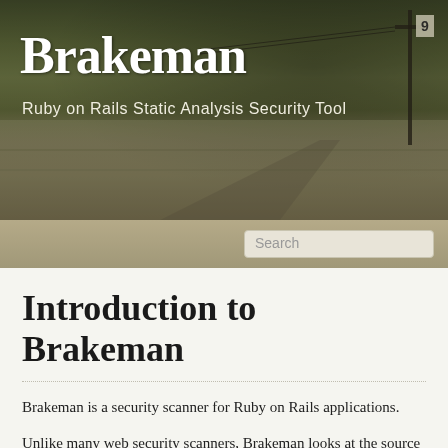[Figure (photo): Header image of a rural road scene with grassy fields and utility poles, used as background for the Brakeman website header]
Brakeman
Ruby on Rails Static Analysis Security Tool
Introduction to Brakeman
Brakeman is a security scanner for Ruby on Rails applications.
Unlike many web security scanners, Brakeman looks at the source code of your application. This means you do